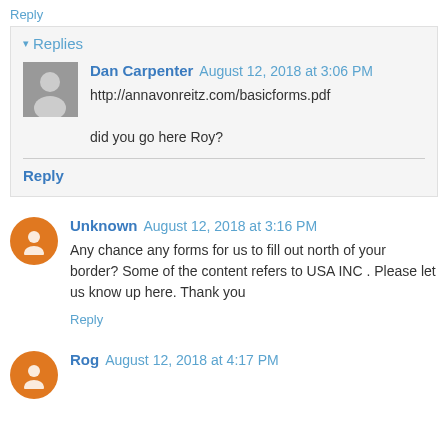Reply
▾ Replies
Dan Carpenter August 12, 2018 at 3:06 PM
http://annavonreitz.com/basicforms.pdf

did you go here Roy?
Reply
Unknown August 12, 2018 at 3:16 PM
Any chance any forms for us to fill out north of your border? Some of the content refers to USA INC . Please let us know up here. Thank you
Reply
Rog August 12, 2018 at 4:17 PM